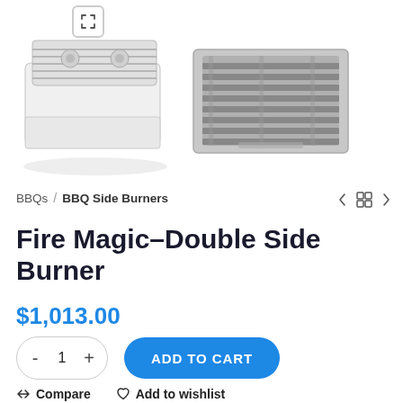[Figure (photo): Two product images of Fire Magic Double Side Burner: left image shows white/silver built-in double burner unit with knobs, right image shows a top-down view of the burner grates]
BBQs / BBQ Side Burners
Fire Magic-Double Side Burner
$1,013.00
- 1 + ADD TO CART
Compare   Add to wishlist